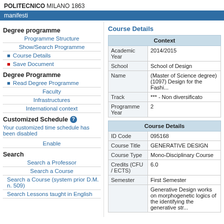POLITECNICO MILANO 1863
manifesti
Degree programme
Programme Structure
Show/Search Programme
Course Details
Save Document
Degree Programme
Read Degree Programme
Faculty
Infrastructures
International context
Customized Schedule
Your customized time schedule has been disabled
Enable
Search
Search a Professor
Search a Course
Search a Course (system prior D.M. n. 509)
Search Lessons taught in English
Course Details
| Context |  |
| --- | --- |
| Academic Year | 2014/2015 |
| School | School of Design |
| Name | (Master of Science degree) (1097) Design for the Fashi... |
| Track | *** - Non diversificato |
| Programme Year | 2 |
| Course Details |  |
| --- | --- |
| ID Code | 095168 |
| Course Title | GENERATIVE DESIGN |
| Course Type | Mono-Disciplinary Course |
| Credits (CFU / ECTS) | 6.0 |
| Semester | First Semester |
|  | Generative Design works on morphogenetic logics of the identifying the generative str... |